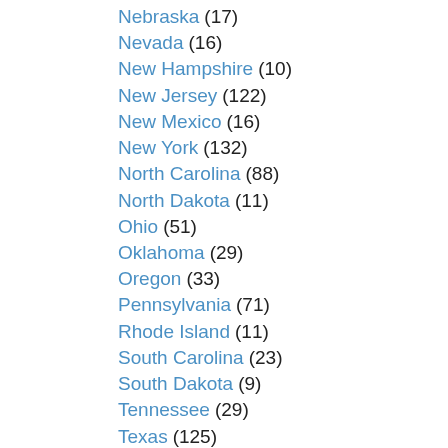Nebraska (17)
Nevada (16)
New Hampshire (10)
New Jersey (122)
New Mexico (16)
New York (132)
North Carolina (88)
North Dakota (11)
Ohio (51)
Oklahoma (29)
Oregon (33)
Pennsylvania (71)
Rhode Island (11)
South Carolina (23)
South Dakota (9)
Tennessee (29)
Texas (125)
Uncategorized (1)
Utah (37)
Vermont (3)
Virginia (40)
Washington (39)